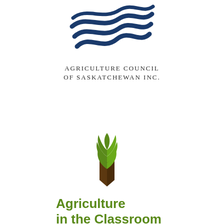[Figure (logo): Agriculture Council of Saskatchewan Inc. logo — blue wave/ribbon design above text 'AGRICULTURE COUNCIL OF SASKATCHEWAN INC.']
[Figure (logo): Agriculture in the Classroom logo — stylized wheat grain icon in green and brown above text 'Agriculture in the Classroom' in green rounded font]